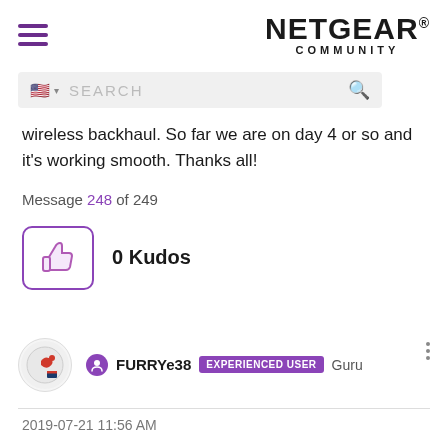NETGEAR COMMUNITY
wireless backhaul. So far we are on day 4 or so and it's working smooth. Thanks all!
Message 248 of 249
0 Kudos
FURRYe38 EXPERIENCED USER Guru
2019-07-21 11:56 AM